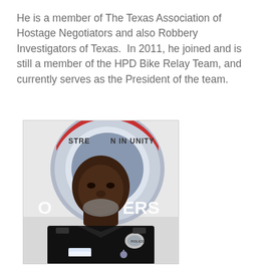He is a member of The Texas Association of Hostage Negotiators and also Robbery Investigators of Texas.  In 2011, he joined and is still a member of the HPD Bike Relay Team, and currently serves as the President of the team.
[Figure (photo): A police officer in a black uniform smiling, with a badge and insignia visible. Background shows a circular emblem with text 'STRENGTH IN UNITY' and partial text 'OFFICERS'.]